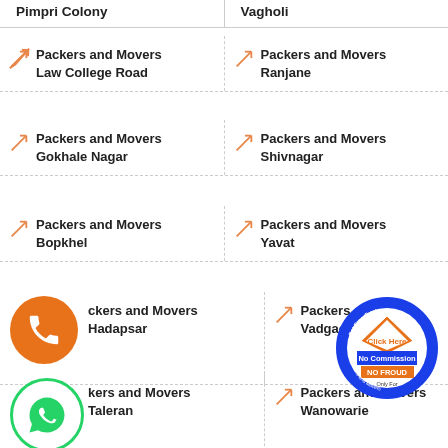Pimpri Colony
Vagholi
Packers and Movers Law College Road
Packers and Movers Ranjane
Packers and Movers Gokhale Nagar
Packers and Movers Shivnagar
Packers and Movers Bopkhel
Packers and Movers Yavat
Packers and Movers Hadapsar
Packers and Movers Vadgaon Sahani
Packers and Movers Taleran
Packers and Movers Wanowarie